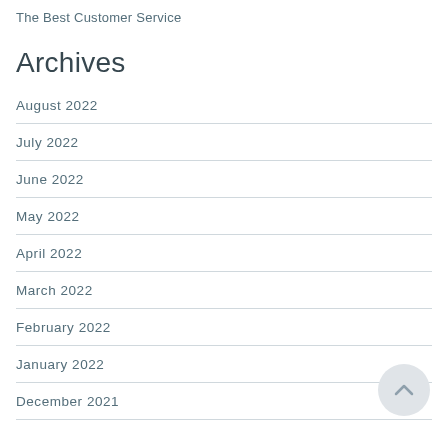The Best Customer Service
Archives
August 2022
July 2022
June 2022
May 2022
April 2022
March 2022
February 2022
January 2022
December 2021